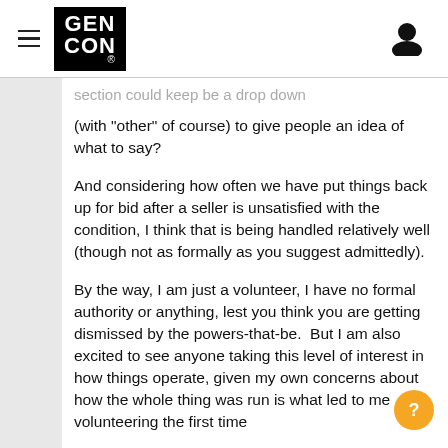GEN CON® [hamburger menu] [user icon]
section could keep be a drop down (with "other" of course) to give people an idea of what to say?
And considering how often we have put things back up for bid after a seller is unsatisfied with the condition, I think that is being handled relatively well (though not as formally as you suggest admittedly).
By the way, I am just a volunteer, I have no formal authority or anything, lest you think you are getting dismissed by the powers-that-be.  But I am also excited to see anyone taking this level of interest in how things operate, given my own concerns about how the whole thing was run is what led to me volunteering the first time